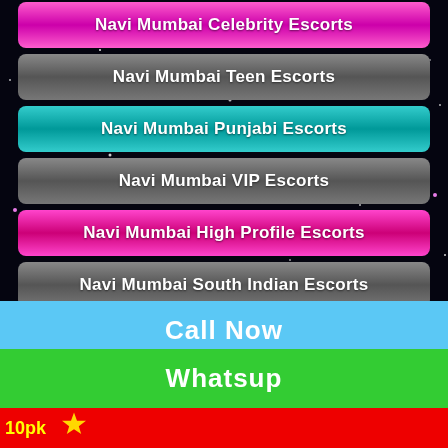Navi Mumbai Celebrity Escorts
Navi Mumbai Teen Escorts
Navi Mumbai Punjabi Escorts
Navi Mumbai VIP Escorts
Navi Mumbai High Profile Escorts
Navi Mumbai South Indian Escorts
Navi Mumbai Kashmir Escorts
Navi Mumbai Collage Girls Escorts
Welcome to Navi Mumbai Escort Service by Miss Denizli
Call Now
Whatsup
10pk